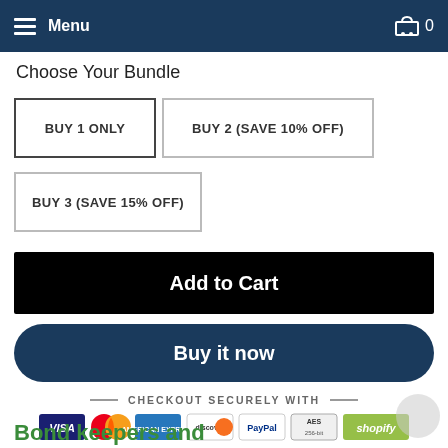Menu  0
Choose Your Bundle
BUY 1 ONLY
BUY 2 (SAVE 10% OFF)
BUY 3 (SAVE 15% OFF)
Add to Cart
Buy it now
CHECKOUT SECURELY WITH
[Figure (infographic): Payment method icons: VISA, MasterCard, American Express, Discover, PayPal, AES-256 security badge, Shopify]
Bond keepers and